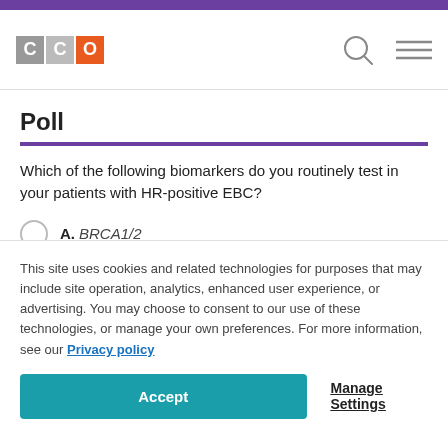[Figure (logo): CCO logo with gray C, gray C, orange O squares]
Poll
Which of the following biomarkers do you routinely test in your patients with HR-positive EBC?
A. BRCA1/2
B. Ki-67
C. PD-L1
This site uses cookies and related technologies for purposes that may include site operation, analytics, enhanced user experience, or advertising. You may choose to consent to our use of these technologies, or manage your own preferences. For more information, see our Privacy policy
Accept
Manage Settings